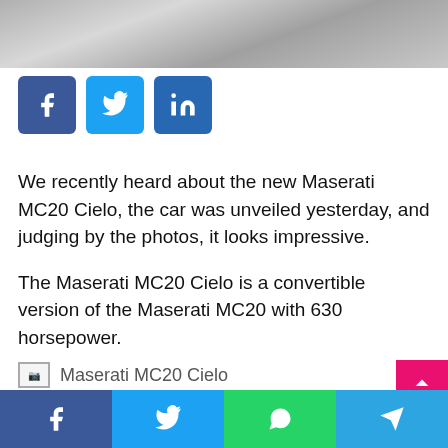[Figure (photo): Gray blurred motion photo strip at top of page]
[Figure (infographic): Social share buttons: Facebook (blue), Twitter (light blue), LinkedIn (dark blue)]
We recently heard about the new Maserati MC20 Cielo, the car was unveiled yesterday, and judging by the photos, it looks impressive.
The Maserati MC20 Cielo is a convertible version of the Maserati MC20 with 630 horsepower.
[Figure (photo): Maserati MC20 Cielo image placeholder]
[Figure (infographic): Bottom share bar with Facebook, Twitter, WhatsApp, Telegram buttons]